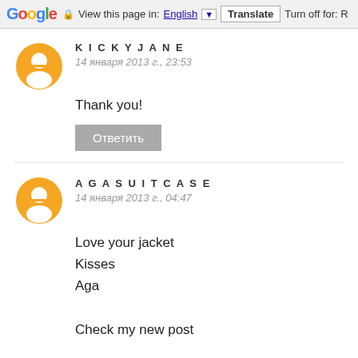Google  View this page in: English [▼]  Translate  Turn off for: R
KICKYJANE
14 января 2013 г., 23:53
Thank you!
Ответить
AGASUITCASE
14 января 2013 г., 04:47
Love your jacket
Kisses
Aga

Check my new post